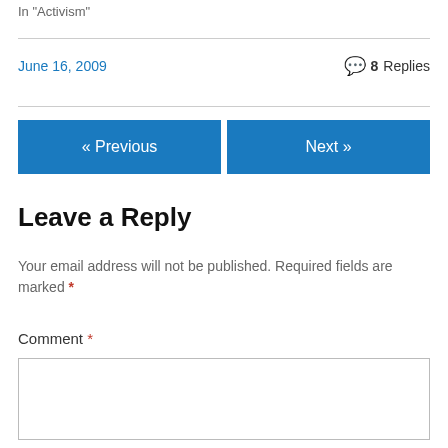In "Activism"
June 16, 2009
8 Replies
« Previous
Next »
Leave a Reply
Your email address will not be published. Required fields are marked *
Comment *